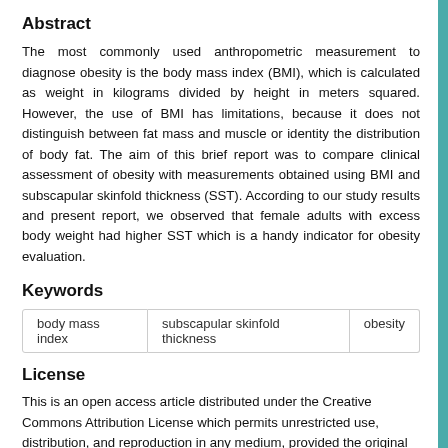Abstract
The most commonly used anthropometric measurement to diagnose obesity is the body mass index (BMI), which is calculated as weight in kilograms divided by height in meters squared. However, the use of BMI has limitations, because it does not distinguish between fat mass and muscle or identity the distribution of body fat. The aim of this brief report was to compare clinical assessment of obesity with measurements obtained using BMI and subscapular skinfold thickness (SST). According to our study results and present report, we observed that female adults with excess body weight had higher SST which is a handy indicator for obesity evaluation.
Keywords
body mass index
subscapular skinfold thickness
obesity
License
This is an open access article distributed under the Creative Commons Attribution License which permits unrestricted use, distribution, and reproduction in any medium, provided the original